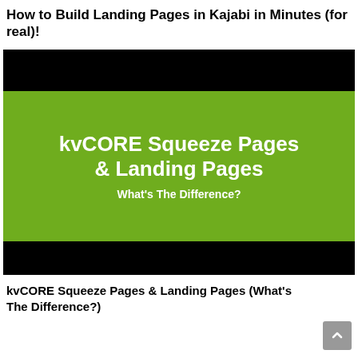How to Build Landing Pages in Kajabi in Minutes (for real)!
[Figure (screenshot): Video thumbnail on a green background with text 'kvCORE Squeeze Pages & Landing Pages – What's The Difference?' with black letterbox bars on top and bottom.]
kvCORE Squeeze Pages & Landing Pages (What's The Difference?)